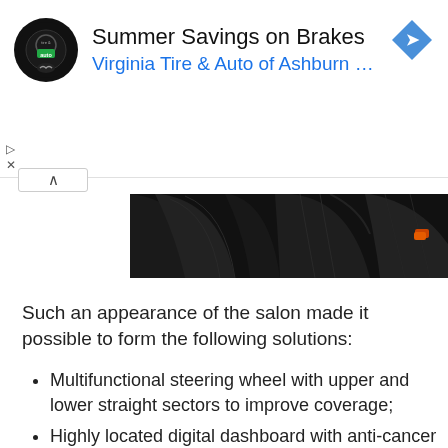[Figure (other): Advertisement banner: Virginia Tire & Auto of Ashburn logo (circular dark badge), headline 'Summer Savings on Brakes', subtext 'Virginia Tire & Auto of Ashburn ...', blue diamond navigation arrow icon on right. Play and close controls below left.]
[Figure (photo): Dark car interior photo showing black leather seats with stitching pattern and a small orange/red indicator light visible.]
Such an appearance of the salon made it possible to form the following solutions:
Multifunctional steering wheel with upper and lower straight sectors to improve coverage;
Highly located digital dashboard with anti-cancer visor;
Practically rectangular ventilation windows of climatic equipment;
Large-towering on the center console screen of